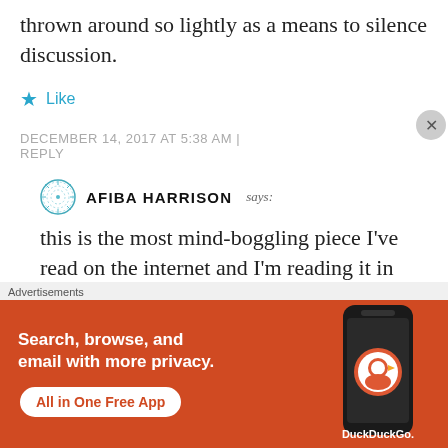thrown around so lightly as a means to silence discussion.
★ Like
DECEMBER 14, 2017 AT 5:38 AM | REPLY
AFIBA HARRISON says:
this is the most mind-boggling piece I've read on the internet and I'm reading it in 2019. Got me asking
[Figure (advertisement): DuckDuckGo advertisement banner: orange background with text 'Search, browse, and email with more privacy. All in One Free App' and DuckDuckGo logo with phone image.]